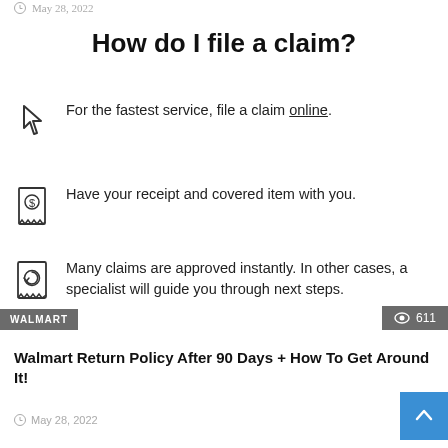May 28, 2022
How do I file a claim?
For the fastest service, file a claim online.
Have your receipt and covered item with you.
Many claims are approved instantly. In other cases, a specialist will guide you through next steps.
WALMART
611
Walmart Return Policy After 90 Days + How To Get Around It!
May 28, 2022